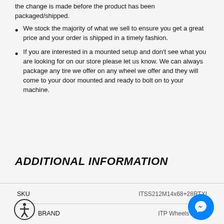the change is made before the product has been packaged/shipped.
We stock the majority of what we sell to ensure you get a great price and your order is shipped in a timely fashion.
If you are interested in a mounted setup and don't see what you are looking for on our store please let us know. We can always package any tire we offer on any wheel we offer and they will come to your door mounted and ready to bolt on to your machine.
ADDITIONAL INFORMATION
|  |  |
| --- | --- |
| SKU | ITSS212M14x68+28RTXI |
| BRAND | ITP Wheels / Tires |